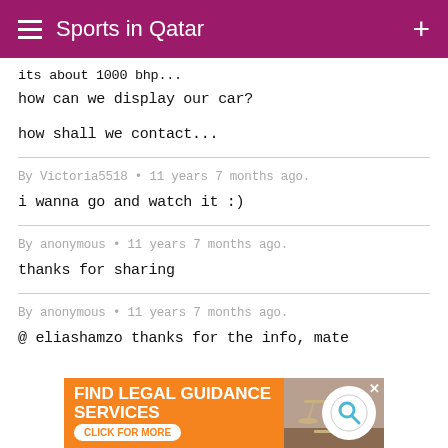Sports in Qatar
its about 1000 bhp...
how can we display our car?
how shall we contact...
By Victoria5518 • 11 years 7 months ago.
i wanna go and watch it :)
By anonymous • 11 years 7 months ago.
thanks for sharing
By anonymous • 11 years 7 months ago.
@ eliashamzo thanks for the info, mate
[Figure (infographic): Orange advertisement banner: FIND LEGAL GUIDANCE SERVICES - CLICK FOR MORE, with scales of justice image and circular logo icon]